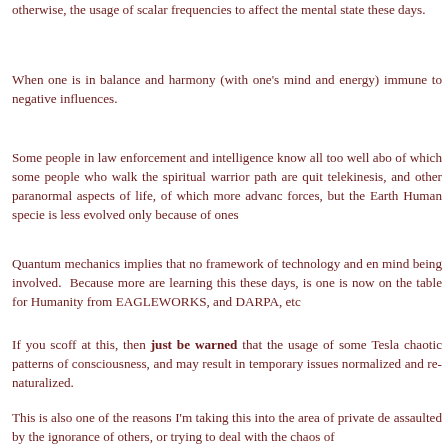otherwise, the usage of scalar frequencies to affect the mental state these days.
When one is in balance and harmony (with one's mind and energy) immune to negative influences.
Some people in law enforcement and intelligence know all too well abo of which some people who walk the spiritual warrior path are quit telekinesis, and other paranormal aspects of life, of which more advanc forces, but the Earth Human specie is less evolved only because of ones
Quantum mechanics implies that no framework of technology and en mind being involved. Because more are learning this these days, is one is now on the table for Humanity from EAGLEWORKS, and DARPA, etc
If you scoff at this, then just be warned that the usage of some Tesla chaotic patterns of consciousness, and may result in temporary issues normalized and re-naturalized.
This is also one of the reasons I'm taking this into the area of private de assaulted by the ignorance of others, or trying to deal with the chaos of